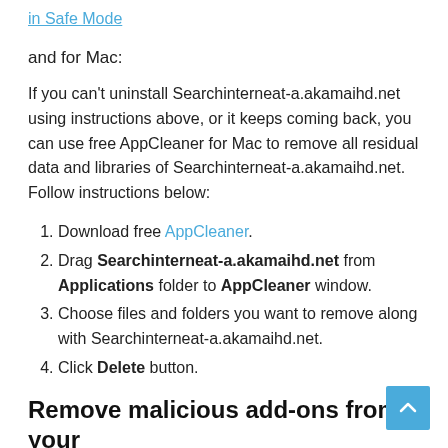in Safe Mode
and for Mac:
If you can't uninstall Searchinterneat-a.akamaihd.net using instructions above, or it keeps coming back, you can use free AppCleaner for Mac to remove all residual data and libraries of Searchinterneat-a.akamaihd.net. Follow instructions below:
Download free AppCleaner.
Drag Searchinterneat-a.akamaihd.net from Applications folder to AppCleaner window.
Choose files and folders you want to remove along with Searchinterneat-a.akamaihd.net.
Click Delete button.
Remove malicious add-ons from your